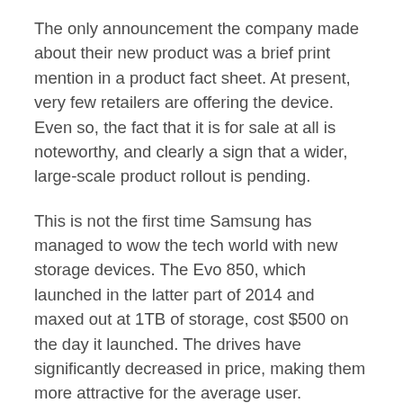The only announcement the company made about their new product was a brief print mention in a product fact sheet. At present, very few retailers are offering the device. Even so, the fact that it is for sale at all is noteworthy, and clearly a sign that a wider, large-scale product rollout is pending.
This is not the first time Samsung has managed to wow the tech world with new storage devices. The Evo 850, which launched in the latter part of 2014 and maxed out at 1TB of storage, cost $500 on the day it launched. The drives have significantly decreased in price, making them more attractive for the average user.
The company is also selling a 2TB model, and therein lies the fly in the proverbial ointment where the new 4TB drive is concerned. It comes with a hefty $1500 price tag. For some this will be a turn off, but for those